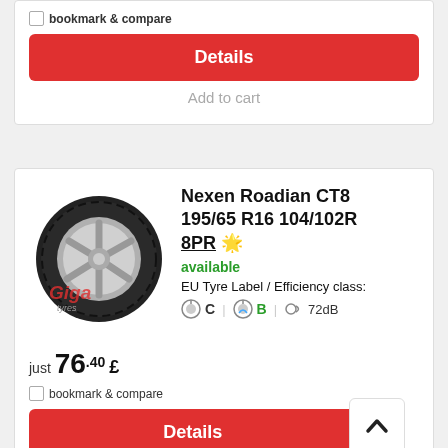bookmark & compare
Details
Add to cart
Nexen Roadian CT8 195/65 R16 104/102R 8PR
available
EU Tyre Label / Efficiency class:
C  B  72dB
just 76.40 £
bookmark & compare
Details